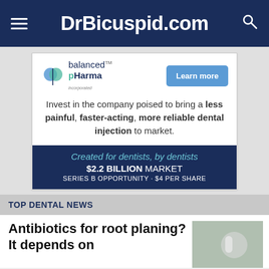DrBicuspid.com
[Figure (infographic): Advertisement for Balanced pHarma: 'Invest in the company poised to bring a less painful, faster-acting, more reliable dental injection to market. Created for dentists, by dentists. $2.2 BILLION MARKET. SERIES B OPPORTUNITY · $4 PER SHARE']
TOP DENTAL NEWS
Antibiotics for root planing? It depends on